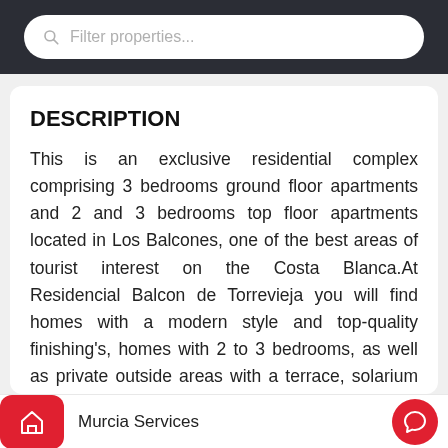Filter properties...
DESCRIPTION
This is an exclusive residential complex comprising 3 bedrooms ground floor apartments and 2 and 3 bedrooms top floor apartments located in Los Balcones, one of the best areas of tourist interest on the Costa Blanca.At Residencial Balcon de Torrevieja you will find homes with a modern style and top-quality finishing's, homes with 2 to 3 bedrooms, as well as private outside areas with a terrace, solarium or garden, where you can enjoy the magnificent views. The complex also has large communal areas equipped with a large communal swimming pool, green
Murcia Services